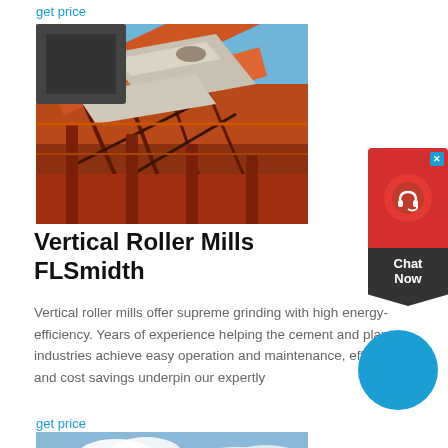get price
[Figure (photo): Industrial conveyor belt system with red steel framework at a mining or quarrying facility against a blue sky.]
[Figure (illustration): Chat Now widget with red background, headset icon, and dark pennant shape with 'Chat Now' text, plus blue X close button.]
Vertical Roller Mills FLSmidth
Vertical roller mills offer supreme grinding with high energy-efficiency. Years of experience helping the cement and plant industries achieve easy operation and maintenance, efficiency and cost savings underpin our expertly
get price
[Figure (photo): Partial view of a landscape or industrial site with cloudy sky at the bottom of the page.]